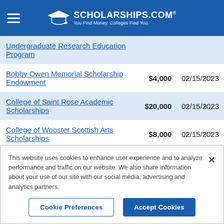[Figure (logo): Scholarships.com logo with graduation cap icon and tagline 'You Find Money. Colleges Find You.']
| Scholarship Name | Amount | Deadline |
| --- | --- | --- |
| Undergraduate Research Education Program |  |  |
| Bobby Owen Memorial Scholarship Endowment | $4,000 | 02/15/2023 |
| College of Saint Rose Academic Scholarships | $20,000 | 02/15/2023 |
| College of Wooster Scottish Arts Scholarships | $8,000 | 02/15/2023 |
This website uses cookies to enhance user experience and to analyze performance and traffic on our website. We also share information about your use of our site with our social media, advertising and analytics partners.